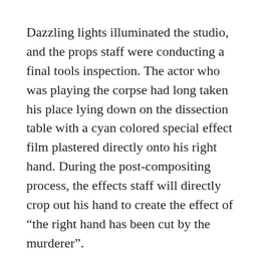Dazzling lights illuminated the studio, and the props staff were conducting a final tools inspection. The actor who was playing the corpse had long taken his place lying down on the dissection table with a cyan colored special effect film plastered directly onto his right hand. During the post-compositing process, the effects staff will directly crop out his hand to create the effect of “the right hand has been cut by the murderer”.
This was a group scene, and Rong Xu, Bo Xiwen, Ren Shuzhi and Ma Qi all had roles.
Faced with the tragic death of her brother, Li Xiao, the younger sister played by Ren Shuzhi,